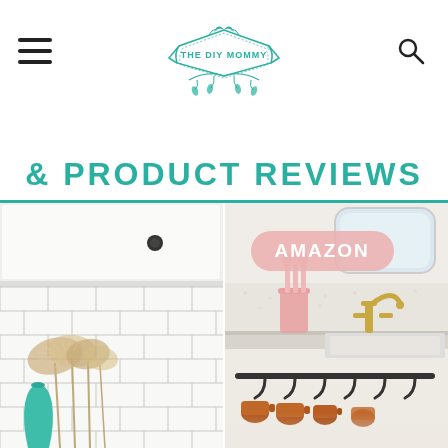THE DIY MOMMY
& PRODUCT REVIEWS
[Figure (photo): Left: kitchen backsplash with white subway tiles, white cabinet with dark knob, pampas grass and teal vase decor. Right: RV or camper kitchen with pink utensils in a pink cup, gold faucet, black mug rack with copper mugs, marble-look countertop, small window. Pink 'AMAZON' badge overlaid on right image.]